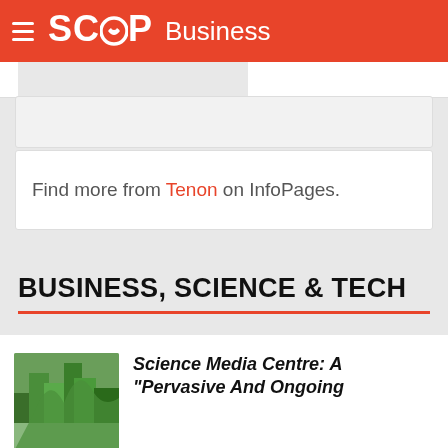SCOOP Business
Find more from Tenon on InfoPages.
BUSINESS, SCIENCE & TECH
[Figure (photo): Trees/foliage photograph, partial view]
Science Media Centre: A "Pervasive And Ongoing